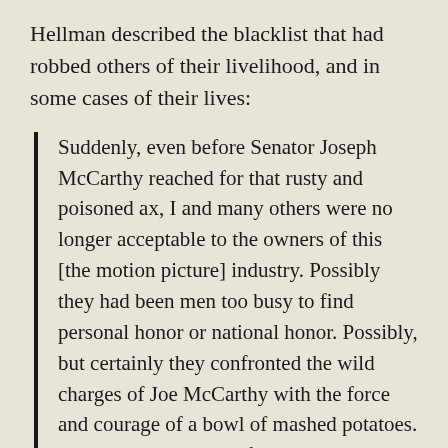Hellman described the blacklist that had robbed others of their livelihood, and in some cases of their lives:
Suddenly, even before Senator Joseph McCarthy reached for that rusty and poisoned ax, I and many others were no longer acceptable to the owners of this [the motion picture] industry. Possibly they had been men too busy to find personal honor or national honor. Possibly, but certainly they confronted the wild charges of Joe McCarthy with the force and courage of a bowl of mashed potatoes. . . . I have no regrets of that period. Maybe you never do when you survive, but I have the mischievous pleasure of being restored to respectability, understanding full well that a younger generation who asked me to be here tonight meant more by that invitation than my name or my history.